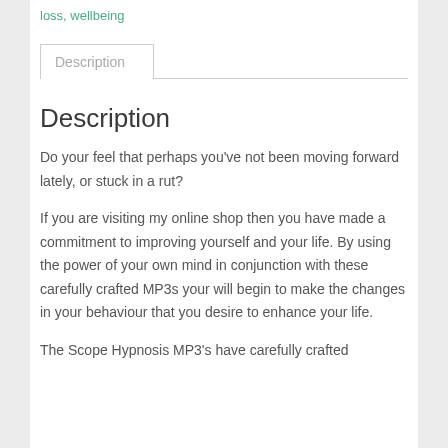loss, wellbeing
[Figure (screenshot): Tab navigation bar with 'Description' tab button selected]
Description
Do your feel that perhaps you've not been moving forward lately, or stuck in a rut?
If you are visiting my online shop then you have made a commitment to improving yourself and your life. By using the power of your own mind in conjunction with these carefully crafted MP3s your will begin to make the changes in your behaviour that you desire to enhance your life.
The Scope Hypnosis MP3's have carefully crafted